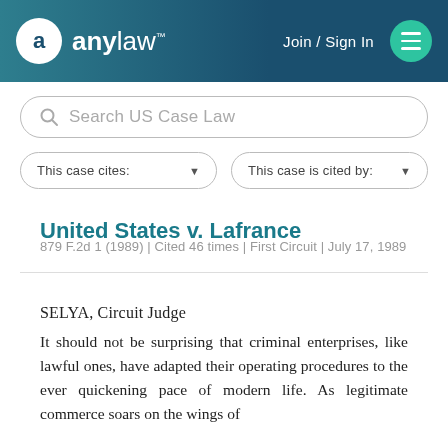anylaw — Join / Sign In
Search US Case Law
This case cites:   This case is cited by:
United States v. Lafrance
879 F.2d 1 (1989) | Cited 46 times | First Circuit | July 17, 1989
SELYA, Circuit Judge
It should not be surprising that criminal enterprises, like lawful ones, have adapted their operating procedures to the ever quickening pace of modern life. As legitimate commerce soars on the wings of